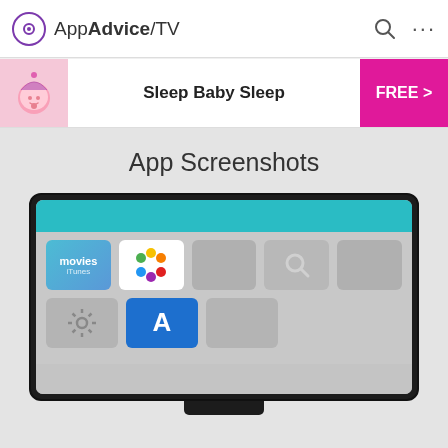AppAdvice/TV
[Figure (screenshot): App banner for Sleep Baby Sleep with pink baby icon, bold title, and FREE button in magenta]
App Screenshots
[Figure (screenshot): Apple TV home screen mockup showing iTunes Movies, Photos, Settings, App Store, and other app icons on a teal-topped interface displayed on a TV frame]